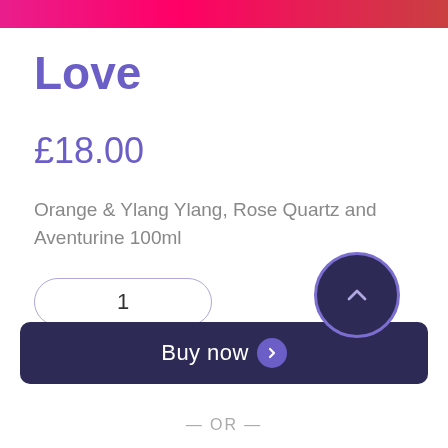[Figure (photo): Pink/magenta gradient banner image at top of product page]
Love
£18.00
Orange & Ylang Ylang, Rose Quartz and Aventurine 100ml
1
Buy now
— OR —